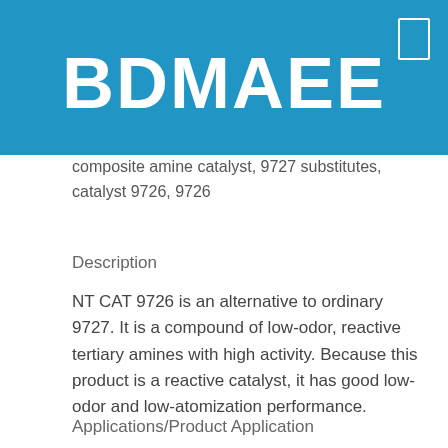BDMAEE
composite amine catalyst, 9727 substitutes, catalyst 9726, 9726
Description
NT CAT 9726 is an alternative to ordinary 9727. It is a compound of low-odor, reactive tertiary amines with high activity. Because this product is a reactive catalyst, it has good low-odor and low-atomization performance.
Applications/Product Application